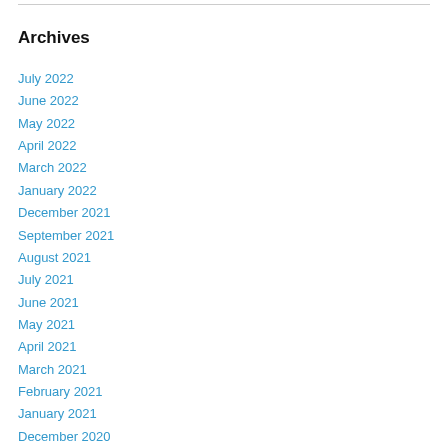Archives
July 2022
June 2022
May 2022
April 2022
March 2022
January 2022
December 2021
September 2021
August 2021
July 2021
June 2021
May 2021
April 2021
March 2021
February 2021
January 2021
December 2020